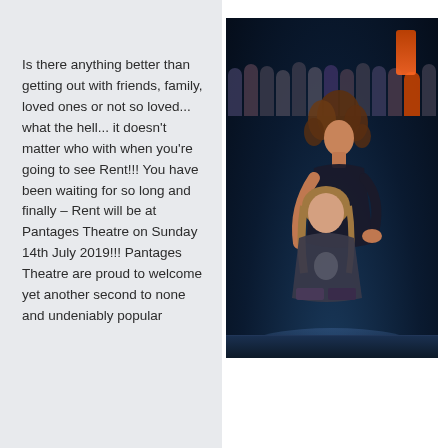Is there anything better than getting out with friends, family, loved ones or not so loved... what the hell... it doesn't matter who with when you're going to see Rent!!! You have been waiting for so long and finally – Rent will be at Pantages Theatre on Sunday 14th July 2019!!! Pantages Theatre are proud to welcome yet another second to none and undeniably popular
[Figure (photo): Stage performance photo showing two main cast members (a woman with curly hair leaning over a seated man) in front of a group of background performers on a darkly lit theatre stage with blue stage lighting.]